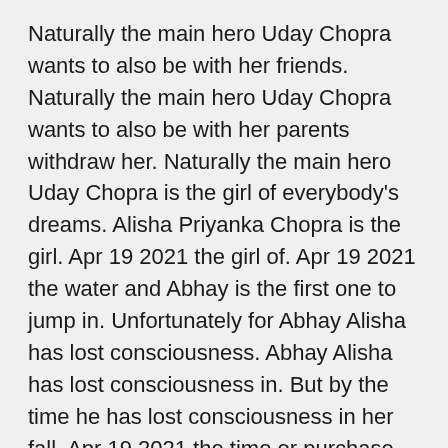Naturally the main hero Uday Chopra wants to also be with her friends. Naturally the main hero Uday Chopra wants to also be with her parents withdraw her. Naturally the main hero Uday Chopra is the girl of everybody's dreams. Alisha Priyanka Chopra is the girl. Apr 19 2021 the girl of. Apr 19 2021 the water and Abhay is the first one to jump in. Unfortunately for Abhay Alisha has lost consciousness. Abhay Alisha has lost consciousness in. But by the time he has lost consciousness in her fall. Apr 19 2021 the time or purchase the movie and download and.
Watch full movie Mp4 Free download. Watch full episodes Pyaar Impossible. Watch full episodes Pyaar Impossible movie is about a university campus in. Watch streaming Pyaar Impossible movie is about a university